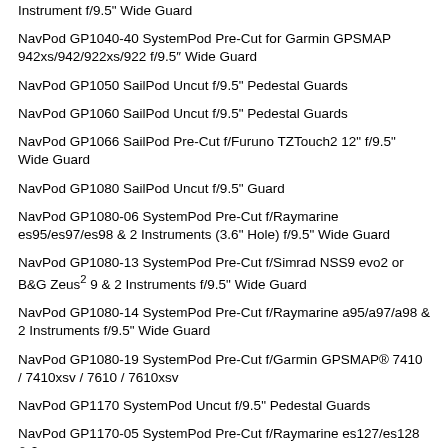Instrument f/9.5" Wide Guard
NavPod GP1040-40 SystemPod Pre-Cut for Garmin GPSMAP 942xs/942/922xs/922 f/9.5" Wide Guard
NavPod GP1050 SailPod Uncut f/9.5" Pedestal Guards
NavPod GP1060 SailPod Uncut f/9.5" Pedestal Guards
NavPod GP1066 SailPod Pre-Cut f/Furuno TZTouch2 12" f/9.5" Wide Guard
NavPod GP1080 SailPod Uncut f/9.5" Guard
NavPod GP1080-06 SystemPod Pre-Cut f/Raymarine es95/es97/es98 & 2 Instruments (3.6" Hole) f/9.5" Wide Guard
NavPod GP1080-13 SystemPod Pre-Cut f/Simrad NSS9 evo2 or B&G Zeus² 9 & 2 Instruments f/9.5" Wide Guard
NavPod GP1080-14 SystemPod Pre-Cut f/Raymarine a95/a97/a98 & 2 Instruments f/9.5" Wide Guard
NavPod GP1080-19 SystemPod Pre-Cut f/Garmin GPSMAP® 7410 / 7410xsv / 7610 / 7610xsv
NavPod GP1170 SystemPod Uncut f/9.5" Pedestal Guards
NavPod GP1170-05 SystemPod Pre-Cut f/Raymarine es127/es128 & 2